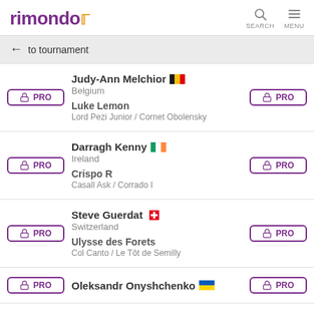rimondo — SEARCH MENU
← to tournament
PRO | Judy-Ann Melchior 🇧🇪 | Belgium | Luke Lemon | Lord Pezi Junior / Cornet Obolensky | PRO
PRO | Darragh Kenny 🇮🇪 | Ireland | Crispo R | Casall Ask / Corrado I | PRO
PRO | Steve Guerdat 🇨🇭 | Switzerland | Ulysse des Forets | Col Canto / Le Tôt de Semilly | PRO
PRO | Oleksandr Onyshchenko 🇺🇦 | PRO